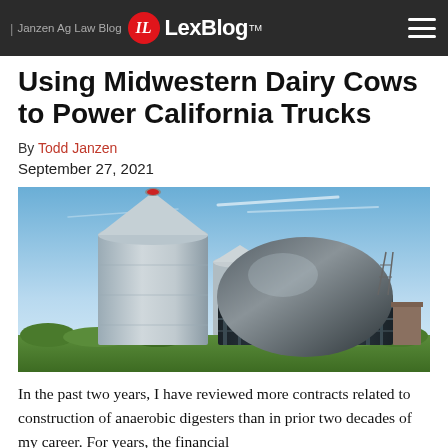| Janzen Ag Law Blog — LexBlog™
Using Midwestern Dairy Cows to Power California Trucks
By Todd Janzen
September 27, 2021
[Figure (photo): Photograph of an anaerobic digester facility with large cylindrical silver tank on the left and a large black dome-shaped digester on the right, set against a blue sky with green vegetation in the foreground.]
In the past two years, I have reviewed more contracts related to construction of anaerobic digesters than in prior two decades of my career. For years, the financial